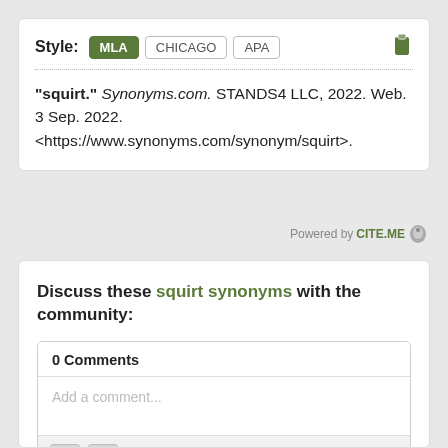Style: MLA CHICAGO APA
"squirt." Synonyms.com. STANDS4 LLC, 2022. Web. 3 Sep. 2022. <https://www.synonyms.com/synonym/squirt>.
Powered by CITE.ME
Discuss these squirt synonyms with the community:
0 Comments
Add a comment...
Notify me of new comments via